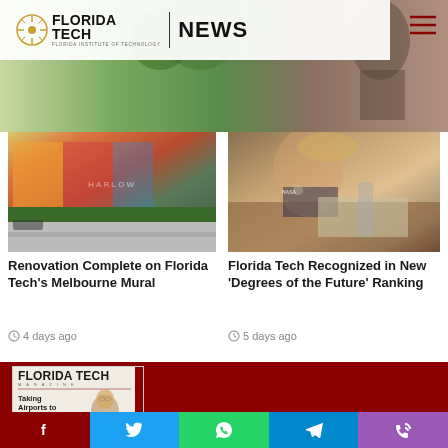[Figure (screenshot): Florida Tech News website header with logo and hamburger menu, hero banner with greenery and statue]
[Figure (photo): Colorful mural on building exterior street view - Melbourne mural]
Renovation Complete on Florida Tech's Melbourne Mural
4 days ago
[Figure (photo): Student in NASA shirt working at desk - Florida Tech degrees of the future]
Florida Tech Recognized in New ‘Degrees of the Future’ Ranking
5 days ago
[Figure (photo): Florida Tech Magazine cover - Taking Airports to New Heights]
[Figure (infographic): Social sharing bar with Facebook, Twitter, WhatsApp, Telegram, and phone share buttons]